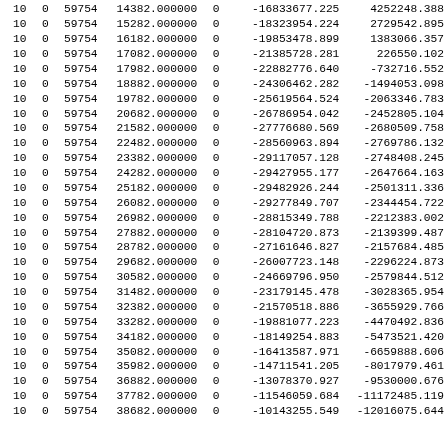| 10 | 0 | 59754 | 14382.000000 | 0 | -16833677.225 | 4252248.388 |
| 10 | 0 | 59754 | 15282.000000 | 0 | -18323954.224 | 2729542.895 |
| 10 | 0 | 59754 | 16182.000000 | 0 | -19853478.899 | 1383066.357 |
| 10 | 0 | 59754 | 17082.000000 | 0 | -21385728.281 | 226550.102 |
| 10 | 0 | 59754 | 17982.000000 | 0 | -22882776.640 | -732716.552 |
| 10 | 0 | 59754 | 18882.000000 | 0 | -24306462.282 | -1494053.098 |
| 10 | 0 | 59754 | 19782.000000 | 0 | -25619564.524 | -2063346.783 |
| 10 | 0 | 59754 | 20682.000000 | 0 | -26786954.042 | -2452805.104 |
| 10 | 0 | 59754 | 21582.000000 | 0 | -27776680.569 | -2680509.758 |
| 10 | 0 | 59754 | 22482.000000 | 0 | -28560963.894 | -2769786.132 |
| 10 | 0 | 59754 | 23382.000000 | 0 | -29117057.128 | -2748408.245 |
| 10 | 0 | 59754 | 24282.000000 | 0 | -29427955.177 | -2647664.163 |
| 10 | 0 | 59754 | 25182.000000 | 0 | -29482926.244 | -2501311.336 |
| 10 | 0 | 59754 | 26082.000000 | 0 | -29277849.707 | -2344454.722 |
| 10 | 0 | 59754 | 26982.000000 | 0 | -28815349.788 | -2212383.002 |
| 10 | 0 | 59754 | 27882.000000 | 0 | -28104720.873 | -2139399.487 |
| 10 | 0 | 59754 | 28782.000000 | 0 | -27161646.827 | -2157684.485 |
| 10 | 0 | 59754 | 29682.000000 | 0 | -26007723.148 | -2296224.873 |
| 10 | 0 | 59754 | 30582.000000 | 0 | -24669796.950 | -2579844.512 |
| 10 | 0 | 59754 | 31482.000000 | 0 | -23179145.478 | -3028365.954 |
| 10 | 0 | 59754 | 32382.000000 | 0 | -21570518.886 | -3655929.766 |
| 10 | 0 | 59754 | 33282.000000 | 0 | -19881077.223 | -4470492.836 |
| 10 | 0 | 59754 | 34182.000000 | 0 | -18149254.883 | -5473521.420 |
| 10 | 0 | 59754 | 35082.000000 | 0 | -16413587.971 | -6659888.606 |
| 10 | 0 | 59754 | 35982.000000 | 0 | -14711541.205 | -8017979.461 |
| 10 | 0 | 59754 | 36882.000000 | 0 | -13078370.927 | -9530000.676 |
| 10 | 0 | 59754 | 37782.000000 | 0 | -11546059.684 | -11172485.119 |
| 10 | 0 | 59754 | 38682.000000 | 0 | -10143255.549 | -12016075.644 |